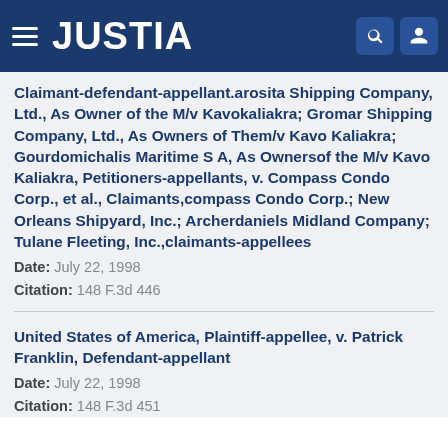JUSTIA
Claimant-defendant-appellant.arosita Shipping Company, Ltd., As Owner of the M/v Kavokaliakra; Gromar Shipping Company, Ltd., As Owners of Them/v Kavo Kaliakra; Gourdomichalis Maritime S A, As Ownersof the M/v Kavo Kaliakra, Petitioners-appellants, v. Compass Condo Corp., et al., Claimants,compass Condo Corp.; New Orleans Shipyard, Inc.; Archerdaniels Midland Company; Tulane Fleeting, Inc.,claimants-appellees
Date: July 22, 1998
Citation: 148 F.3d 446
United States of America, Plaintiff-appellee, v. Patrick Franklin, Defendant-appellant
Date: July 22, 1998
Citation: 148 F.3d 451